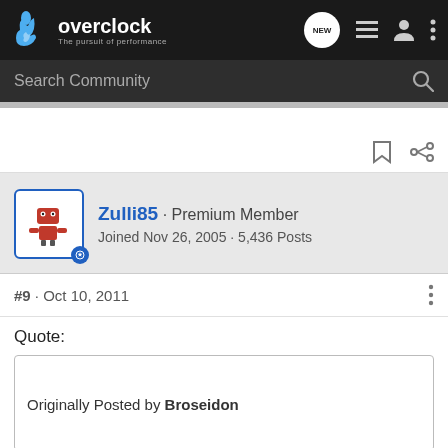overclock · The pursuit of performance
Search Community
Zulli85 · Premium Member
Joined Nov 26, 2005 · 5,436 Posts
#9 · Oct 10, 2011
Quote:
Originally Posted by Broseidon